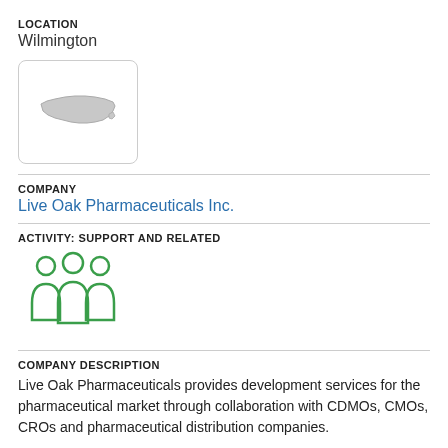LOCATION
Wilmington
[Figure (map): Small map icon showing the outline of North Carolina state, displayed in a rounded rectangle box.]
COMPANY
Live Oak Pharmaceuticals Inc.
ACTIVITY: SUPPORT AND RELATED
[Figure (illustration): Green icon showing three people/group silhouettes representing support and related activity.]
COMPANY DESCRIPTION
Live Oak Pharmaceuticals provides development services for the pharmaceutical market through collaboration with CDMOs, CMOs, CROs and pharmaceutical distribution companies.